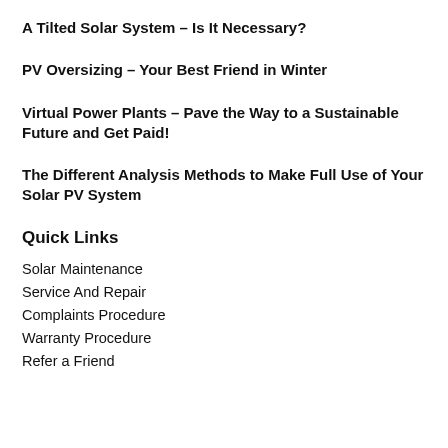A Tilted Solar System – Is It Necessary?
PV Oversizing – Your Best Friend in Winter
Virtual Power Plants – Pave the Way to a Sustainable Future and Get Paid!
The Different Analysis Methods to Make Full Use of Your Solar PV System
Quick Links
Solar Maintenance
Service And Repair
Complaints Procedure
Warranty Procedure
Refer a Friend